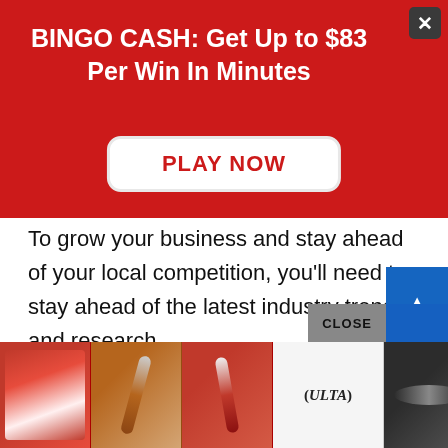[Figure (screenshot): Red advertisement banner: 'BINGO CASH: Get Up to $83 Per Win In Minutes' with a white 'PLAY NOW' button and a dark close (X) button in top right corner.]
To grow your business and stay ahead of your local competition, you'll need to stay ahead of the latest industry trends and research.
Luckily, there are tools that make this much easier. Whether you want to research new investment opportunities or figure out what other Airbnbs are charging in your area, Airbnb market research tools are a must.
[Figure (screenshot): Bottom advertisement: Ulta Beauty makeup ad with images of lips, makeup brushes, and eyes. 'CLOSE' button overlay and 'SHOP NOW' button. Blue scroll-up arrow button on the right.]
Some